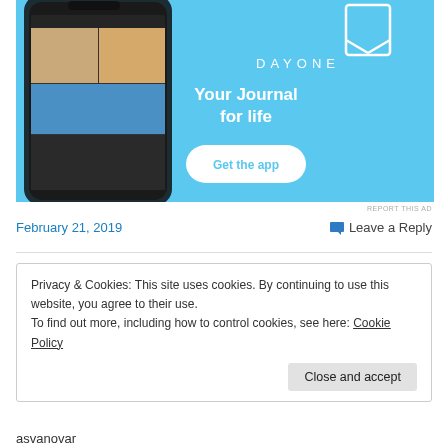[Figure (screenshot): DayOne app advertisement banner featuring a phone screenshot showing the app interface on a blue background, with text 'DAYONE', 'Your Journal for life', and a 'Get the app' button.]
REPORT THIS AD
February 21, 2019
Leave a Reply
Privacy & Cookies: This site uses cookies. By continuing to use this website, you agree to their use.
To find out more, including how to control cookies, see here: Cookie Policy
Close and accept
asvanovar